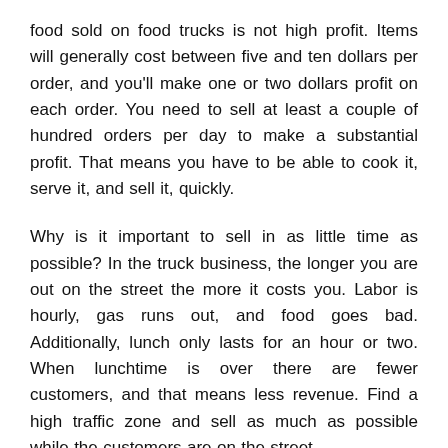food sold on food trucks is not high profit. Items will generally cost between five and ten dollars per order, and you'll make one or two dollars profit on each order. You need to sell at least a couple of hundred orders per day to make a substantial profit. That means you have to be able to cook it, serve it, and sell it, quickly.
Why is it important to sell in as little time as possible? In the truck business, the longer you are out on the street the more it costs you. Labor is hourly, gas runs out, and food goes bad. Additionally, lunch only lasts for an hour or two. When lunchtime is over there are fewer customers, and that means less revenue. Find a high traffic zone and sell as much as possible while the customers are on the street.
The Right Truck